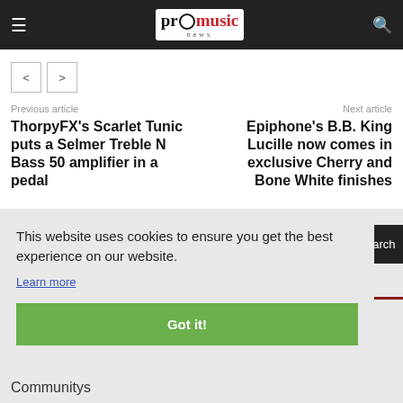pro music news
[Figure (other): Navigation arrows: left and right chevron buttons]
Previous article
Next article
ThorpyFX's Scarlet Tunic puts a Selmer Treble N Bass 50 amplifier in a pedal
Epiphone's B.B. King Lucille now comes in exclusive Cherry and Bone White finishes
This website uses cookies to ensure you get the best experience on our website.
Learn more
Got it!
Search
Communitys